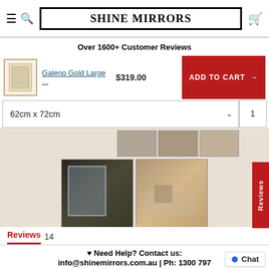SHINE MIRRORS
Over 1600+ Customer Reviews
Galeno Gold Large ... $319.00 ADD TO CART →
62cm x 72cm  1
[Figure (photo): Gallery showing mirror product photos including room lifestyle shots]
Reviews  14
Reviews (side button)
♥ Need Help? Contact us: info@shinemirrors.com.au | Ph: 1300 797
Chat